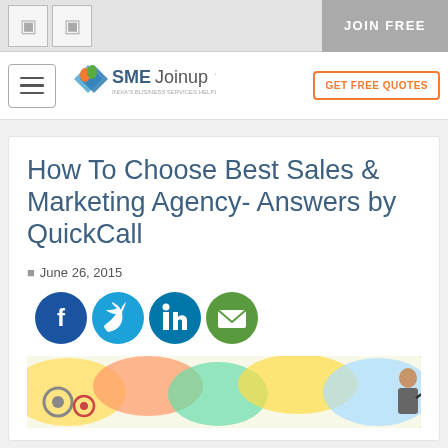JOIN FREE
[Figure (logo): SME Joinup logo - India's Business Services Helpline]
GET FREE QUOTES
How To Choose Best Sales & Marketing Agency- Answers by QuickCall
June 26, 2015
[Figure (infographic): Social share icons: Facebook, Twitter, LinkedIn, Email]
[Figure (photo): Colorful creative marketing illustration with person drawing]